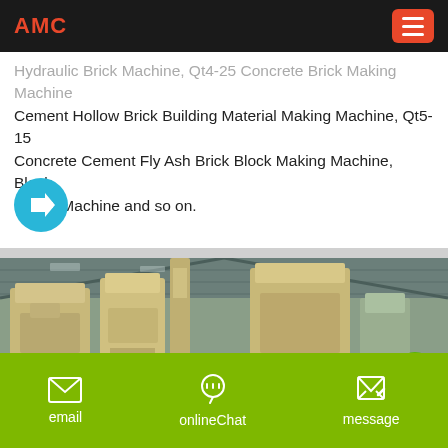AMC
Hydraulic Brick Machine, Qt4-25 Concrete Brick Making Machine Cement Hollow Brick Building Material Making Machine, Qt5-15 Concrete Cement Fly Ash Brick Block Making Machine, Block Maker Machine and so on.
[Figure (other): Cyan circle button with white right-arrow icon]
[Figure (photo): Industrial warehouse interior with large yellow/beige machinery (brick making machines) under a metal roof]
email   onlineChat   message